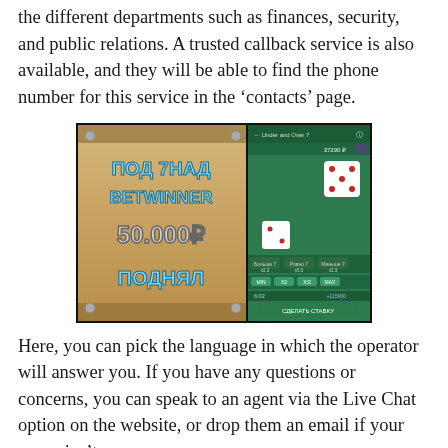the different departments such as finances, security, and public relations. A trusted callback service is also available, and they will be able to find the phone number for this service in the ‘contacts’ page.
[Figure (screenshot): Screenshot of a BetWinner gambling app/website. Left side shows a promotional banner in Russian with cyan stylized text reading ПОД 7НАД BETWINNER 50.000₽ ПОДНЯЛ on a wooden/sandy background. Right side shows a dice game interface (Under and Over 7) on a dark green background with dice, betting options, and control buttons.]
Here, you can pick the language in which the operator will answer you. If you have any questions or concerns, you can speak to an agent via the Live Chat option on the website, or drop them an email if your query isn’t